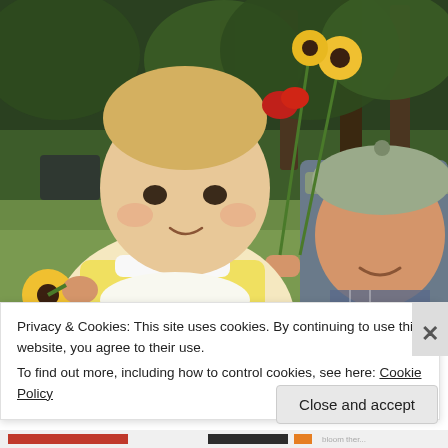[Figure (photo): A young toddler girl with a red flower in her blonde hair holds a yellow black-eyed Susan flower, while a man in a camouflage baseball cap smiles at her. Both are outdoors in a grassy field with trees in the background. The scene is bright and summery.]
Privacy & Cookies: This site uses cookies. By continuing to use this website, you agree to their use.
To find out more, including how to control cookies, see here: Cookie Policy
Close and accept